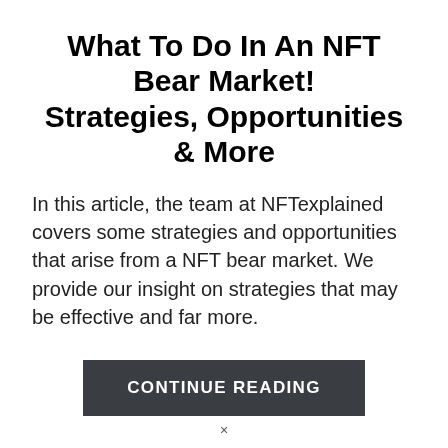What To Do In An NFT Bear Market! Strategies, Opportunities & More
In this article, the team at NFTexplained covers some strategies and opportunities that arise from a NFT bear market. We provide our insight on strategies that may be effective and far more.
CONTINUE READING
×